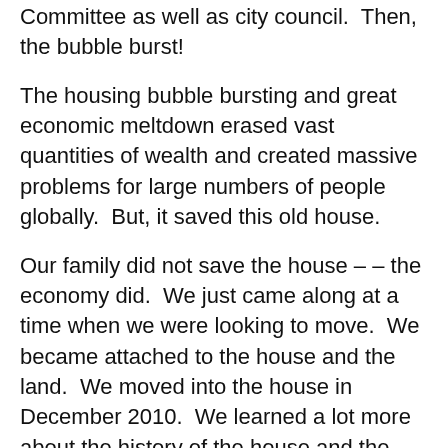Committee as well as city council.  Then, the bubble burst!
The housing bubble bursting and great economic meltdown erased vast quantities of wealth and created massive problems for large numbers of people globally.  But, it saved this old house.
Our family did not save the house – – the economy did.  We just came along at a time when we were looking to move.  We became attached to the house and the land.  We moved into the house in December 2010.  We learned a lot more about the history of the house and the surrounding area after moving in.  Subsequent posts will detail various portions of that discovered history, including pre-1900 history, the land, the first owners, the architect, the builder, the landscape architect, the roof, the light fixtures, the mantle carvings, the outdoor fireplace, the